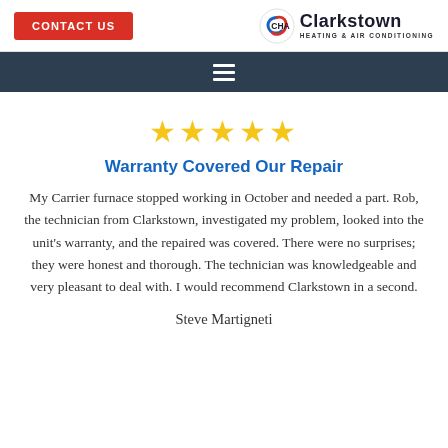CONTACT US | Clarkstown Heating & Air Conditioning
[Figure (logo): Clarkstown Heating & Air Conditioning logo with CHA monogram icon]
[Figure (infographic): Five gold star rating]
Warranty Covered Our Repair
My Carrier furnace stopped working in October and needed a part. Rob, the technician from Clarkstown, investigated my problem, looked into the unit's warranty, and the repaired was covered. There were no surprises; they were honest and thorough. The technician was knowledgeable and very pleasant to deal with. I would recommend Clarkstown in a second.
Steve Martigneti